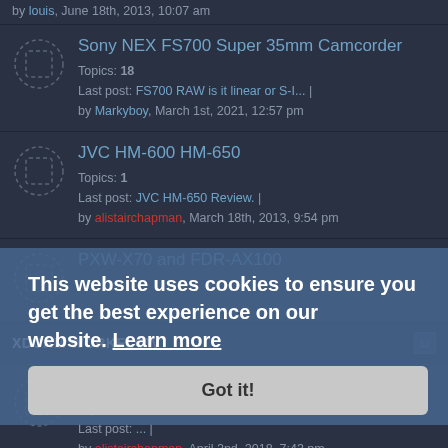by louis, June 18th, 2013, 10:07 am
Sony NEX FS700 Super 35mm Camcorder
Topics: 18
Last post: FS700 RAW is it linear or S-I... |
by Markyboy, March 1st, 2021, 12:57 pm
JVC HM-600 HM-650
Topics: 1
Last post: JVC HM-650 Review. |
by alistairchapman, March 18th, 2013, 9:54 pm
PXW-X70 and FDR-AX100
XDCAM WORKFLOW
SxS and Solid State
Topics: 34
Last post: ...
by alistairchapman, April 2nd, 2018, 7:43 pm
This website uses cookies to ensure you get the best experience on our website. Learn more
Got it!
Optical Disc Workflow
Topics: 4
Last post: Re: Data fading away.... |
by Issam abaza, May 26th, 2014, 9:11 pm